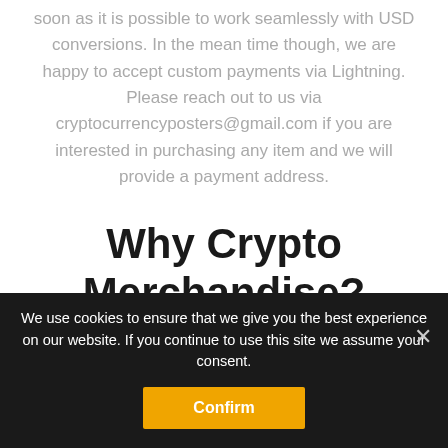soon as it is possible to work seamlessly with USD conversions. In the mean time though, we are happy to accept custom payments via Lightning. Please reach out to us via cryptocurrencyposters@gmail.com if you are interested in purchasing any item and we will provide a payment address.
Why Crypto Merchandise?
We believe that cryptocurrency is one of the most important technological breakthroughs in human history.
We use cookies to ensure that we give you the best experience on our website. If you continue to use this site we assume your consent.